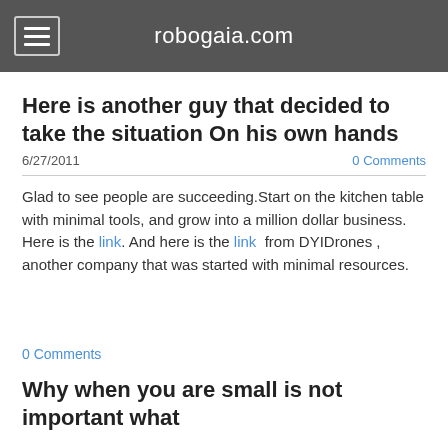robogaia.com
Here is another guy that decided to take the situation On his own hands
6/27/2011    0 Comments
Glad to see people are succeeding.Start on the kitchen table with minimal tools, and grow into a million dollar business. Here is the link. And here is the link  from DYIDrones , another company that was started with minimal resources.
0 Comments
Why when you are small is not important what